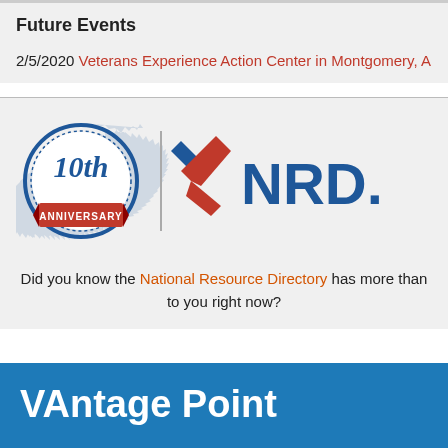Future Events
2/5/2020 Veterans Experience Action Center in Montgomery, Al
[Figure (logo): NRD 10th Anniversary logo: a circular badge reading '10th ANNIVERSARY' in blue and red with a ribbon, a vertical dividing line, and the NRD logo with red and blue arrow/check shapes followed by letters 'NRD.']
Did you know the National Resource Directory has more than to you right now?
VAntage Point